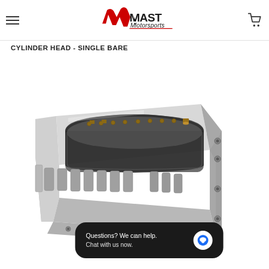Mast Motorsports
CYLINDER HEAD - SINGLE BARE
[Figure (photo): Silver aluminum cylinder head (single bare) shown in a 3D perspective view. The part has multiple rectangular cooling fin slots along its side, rocker arm stud bosses on top, and bolt hole flanges on the ends. Finish is natural machined aluminum.]
Questions? We can help.
Chat with us now.